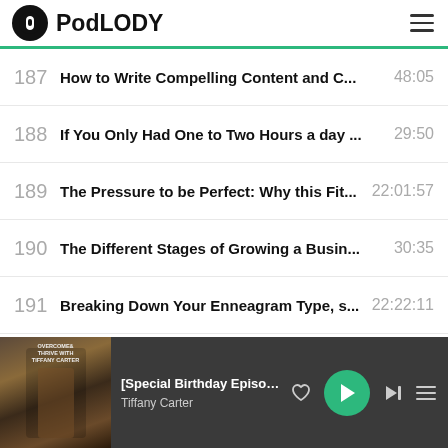PodLODY
187  How to Write Compelling Content and C…  48:05
188  If You Only Had One to Two Hours a day …  29:50
189  The Pressure to be Perfect: Why this Fit…  22:01:57
190  The Different Stages of Growing a Busin…  30:35
191  Breaking Down Your Enneagram Type, s…  22:22:11
192  The When, The What, and The How of us…  30:09
193  How to get over yourself to show up as …  22:02:23
194  Why I Chose to Lose Out on Making Ano…  41:49
[Special Birthday Episode] 5 Busin…  Tiffany Carter